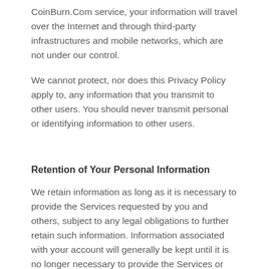CoinBurn.Com service, your information will travel over the Internet and through third-party infrastructures and mobile networks, which are not under our control.
We cannot protect, nor does this Privacy Policy apply to, any information that you transmit to other users. You should never transmit personal or identifying information to other users.
Retention of Your Personal Information
We retain information as long as it is necessary to provide the Services requested by you and others, subject to any legal obligations to further retain such information. Information associated with your account will generally be kept until it is no longer necessary to provide the Services or until you ask us to delete it or your account is deleted, whichever